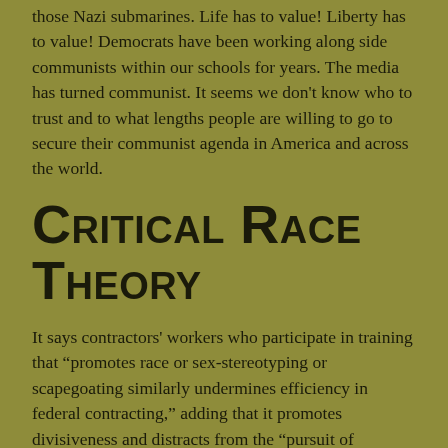those Nazi submarines. Life has to value! Liberty has to value! Democrats have been working along side communists within our schools for years. The media has turned communist. It seems we don't know who to trust and to what lengths people are willing to go to secure their communist agenda in America and across the world.
Critical Race Theory
It says contractors' workers who participate in training that "promotes race or sex-stereotyping or scapegoating similarly undermines efficiency in federal contracting," adding that it promotes divisiveness and distracts from the "pursuit of excellence."
"Therefore, it shall be the policy of the United States not to promote race or sex-stereotyping or scapegoating in the Federal workforce or in the Uniformed Services, and not to allow grant funds to be used for these purposes. In addition, Federal contractors will not be permitted to inculcate such views in their employees," the order said.
It builds on an order issued earlier this month that instructs